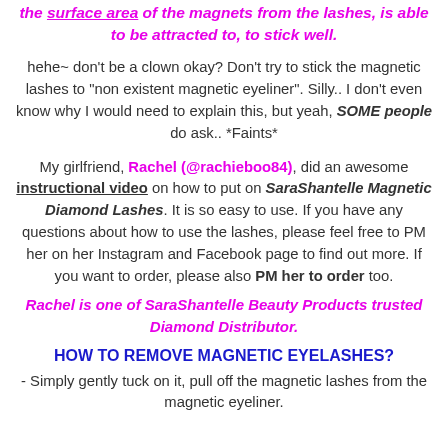Logically, you need to draw a magnetic lash line directly by the surface area of the magnets from the lashes, is able to be attracted to, to stick well.
hehe~ don't be a clown okay? Don't try to stick the magnetic lashes to "non existent magnetic eyeliner". Silly.. I don't even know why I would need to explain this, but yeah, SOME people do ask.. *Faints*
My girlfriend, Rachel (@rachieboo84), did an awesome instructional video on how to put on SaraShantelle Magnetic Diamond Lashes. It is so easy to use. If you have any questions about how to use the lashes, please feel free to PM her on her Instagram and Facebook page to find out more. If you want to order, please also PM her to order too.
Rachel is one of SaraShantelle Beauty Products trusted Diamond Distributor.
HOW TO REMOVE MAGNETIC EYELASHES?
- Simply gently tuck on it, pull off the magnetic lashes from the magnetic eyeliner.